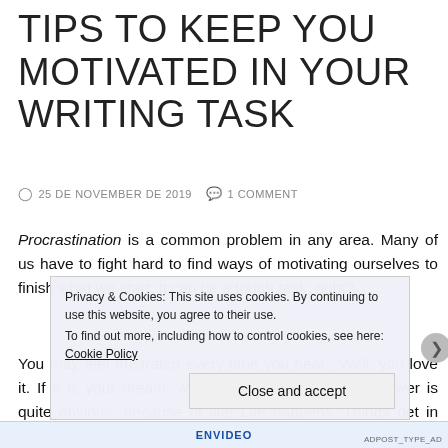TIPS TO KEEP YOU MOTIVATED IN YOUR WRITING TASK
25 DE NOVEMBER DE 2019   1 COMMENT
Procrastination is a common problem in any area. Many of us have to fight hard to find ways of motivating ourselves to finish what we start. It can be a tough task, right?
You may feel frustrated every time you hear, “Well, you love it. If it is your dream, why don’t you do it?” The answer is quite obvious: because of life! Life happens. Things get in the way,
Privacy & Cookies: This site uses cookies. By continuing to use this website, you agree to their use.
To find out more, including how to control cookies, see here: Cookie Policy
Close and accept